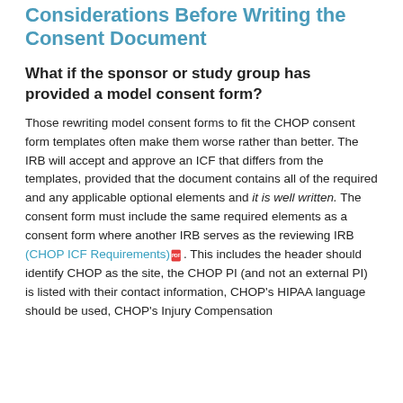Considerations Before Writing the Consent Document
What if the sponsor or study group has provided a model consent form?
Those rewriting model consent forms to fit the CHOP consent form templates often make them worse rather than better. The IRB will accept and approve an ICF that differs from the templates, provided that the document contains all of the required and any applicable optional elements and it is well written. The consent form must include the same required elements as a consent form where another IRB serves as the reviewing IRB (CHOP ICF Requirements). This includes the header should identify CHOP as the site, the CHOP PI (and not an external PI) is listed with their contact information, CHOP's HIPAA language should be used, CHOP's Injury Compensation